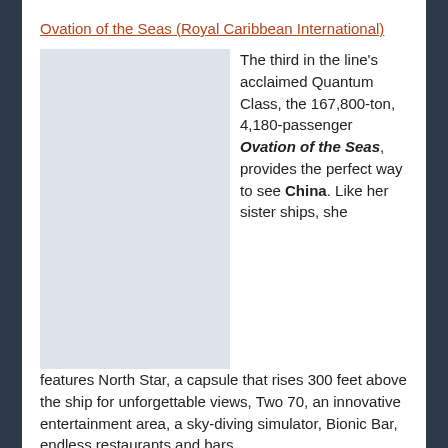Ovation of the Seas (Royal Caribbean International)
[Figure (photo): Image placeholder area for Ovation of the Seas ship photo]
The third in the line's acclaimed Quantum Class, the 167,800-ton, 4,180-passenger Ovation of the Seas, provides the perfect way to see China. Like her sister ships, she features North Star, a capsule that rises 300 feet above the ship for unforgettable views, Two 70, an innovative entertainment area, a sky-diving simulator, Bionic Bar, endless restaurants and bars...